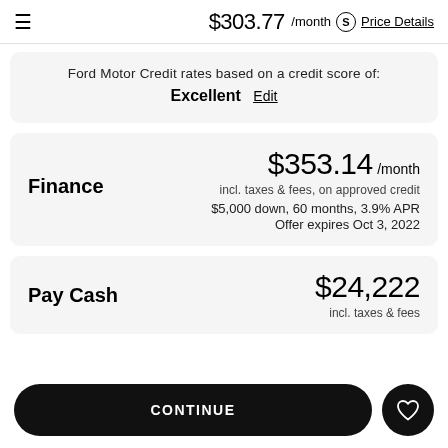≡  $303.77 /month  S  Price Details
Ford Motor Credit rates based on a credit score of: Excellent  Edit
$353.14 /month
incl. taxes & fees, on approved credit
$5,000 down, 60 months, 3.9% APR
Offer expires Oct 3, 2022
Finance
Pay Cash  $24,222
incl. taxes & fees
CONTINUE